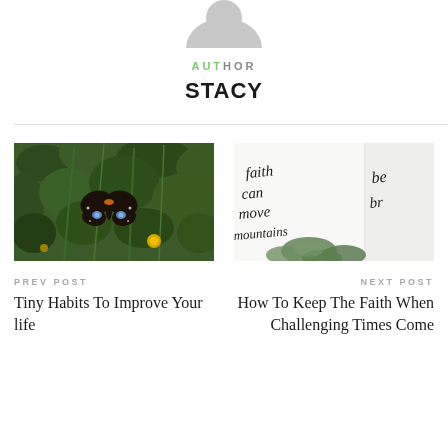[Figure (photo): Partial view of a gray avatar/profile silhouette icon at the top center of the page]
AUTHOR
STACY
[Figure (photo): A butterfly with blue and black wings resting on green leafy plant with yellow flowers in the background]
PREV POST
Tiny Habits To Improve Your life
[Figure (photo): Handwritten calligraphy cards reading 'faith can move mountains' with green eucalyptus leaves]
NEXT POST
How To Keep The Faith When Challenging Times Come